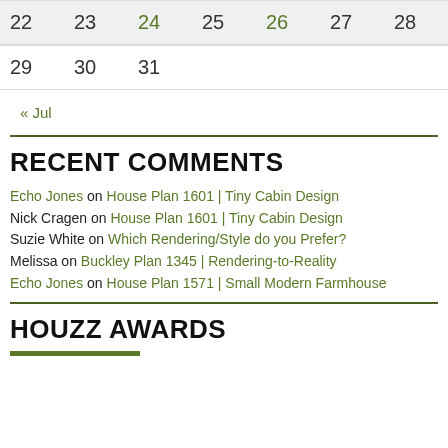| 22 | 23 | 24 | 25 | 26 | 27 | 28 |
| 29 | 30 | 31 |  |  |  |  |
« Jul
RECENT COMMENTS
Echo Jones on House Plan 1601 | Tiny Cabin Design
Nick Cragen on House Plan 1601 | Tiny Cabin Design
Suzie White on Which Rendering/Style do you Prefer?
Melissa on Buckley Plan 1345 | Rendering-to-Reality
Echo Jones on House Plan 1571 | Small Modern Farmhouse
HOUZZ AWARDS